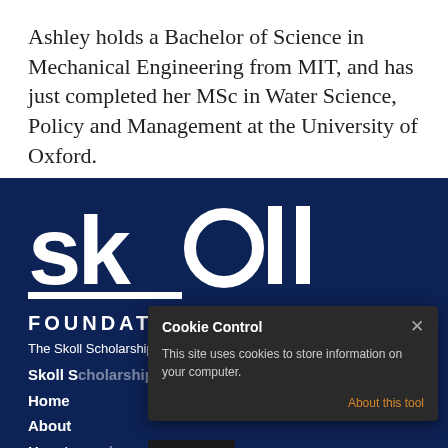Ashley holds a Bachelor of Science in Mechanical Engineering from MIT, and has just completed her MSc in Water Science, Policy and Management at the University of Oxford.
[Figure (logo): Skoll Foundation logo — white text 'skoll' in lowercase with stylized letters and 'FOUNDATION' below, on dark navy background]
The Skoll Scholarship is funded by the Skoll Foundation.
Skoll Scholarship
Home
About
How to apply